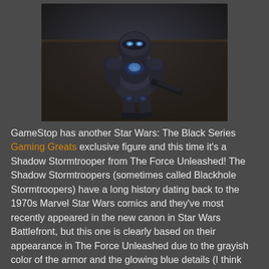[Figure (photo): Photo of a Shadow Stormtrooper action figure with dark grayish armor and glowing blue details, posed in a crouching/action stance against a dark background.]
GameStop has another Star Wars: The Black Series Gaming Greats exclusive figure and this time it's a Shadow Stormtrooper from The Force Unleashed! The Shadow Stormtroopers (sometimes called Blackhole Stormtroopers) have a long history dating back to the 1970s Marvel Star Wars comics and they've most recently appeared in the new canon in Star Wars Battlefront, but this one is clearly based on their appearance in The Force Unleashed due to the grayish color of the armor and the glowing blue details (I think those ones are technically referred to as Shadow Troopers, not Shadow Stormtroopers, but that's what who this guy is). Hasbro actually released the Imperial Shadow Squadron as a Target exclusive back in 2014 but those are simply fully black Stormtroopers, so this guy is still quite different than the previously released figures. When it comes